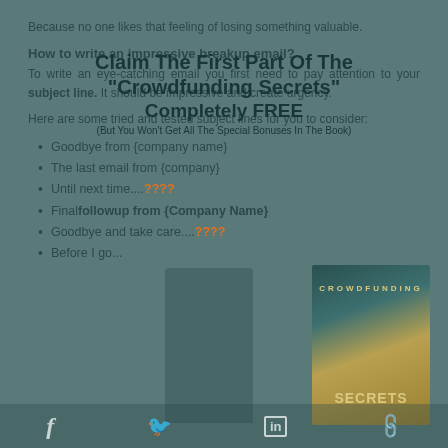Because no one likes that feeling of losing something valuable.
How to write an impressive breakup email?
To write an eye-catching email you first need to pay attention to your subject line. It should be impressive and create urgency.
Here are some tried and tested subject lines for you to consider:
Goodbye from {company name}
The last email from {company}
Until next time....????
Final followup from {Company Name}
Goodbye and take care....????
Before I go...
[Figure (other): Overlay advertisement for Crowdfunding Secrets book — 'Claim The First Part Of The Crowdfunding Secrets Completely FREE (But You Won't Get All The Special Bonuses In The Book)']
Facebook, Twitter, LinkedIn, Link icons